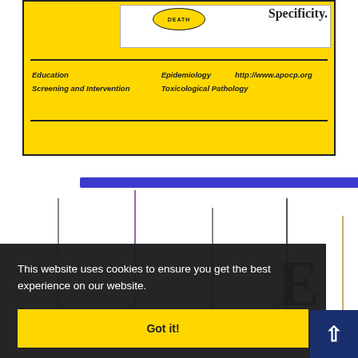[Figure (screenshot): Yellow banner/header box with DEATH oval, Specificity text, horizontal rules, and subject area labels including Education, Epidemiology, Screening and Intervention, Toxicological Pathology, and URL http://www.apocp.org]
Education   Epidemiology   http://www.apocp.org
Screening and Intervention   Toxicological Pathology
[Figure (other): Blue horizontal bar divider]
[Figure (continuous-plot): Vertical lines of varying heights suggesting a chart or timeline, partially obscured by cookie banner]
E
This website uses cookies to ensure you get the best experience on our website.
Got it!